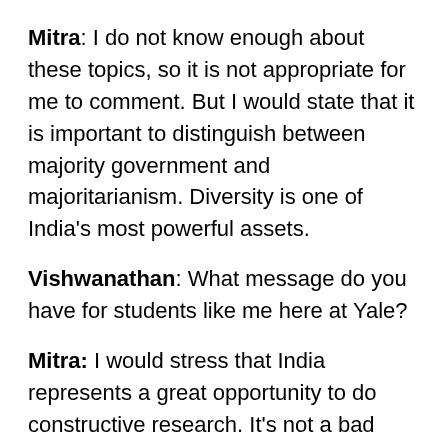Mitra: I do not know enough about these topics, so it is not appropriate for me to comment. But I would state that it is important to distinguish between majority government and majoritarianism. Diversity is one of India's most powerful assets.
Vishwanathan: What message do you have for students like me here at Yale?
Mitra: I would stress that India represents a great opportunity to do constructive research. It's not a bad idea at all to study specific problems in India in depth and to suggest specific, detailed, well-researched solutions. Only one out of ten ideas might stick, but that idea could produce real change. I am thinking of someone like T.N Srinivasan, who spent so much of his